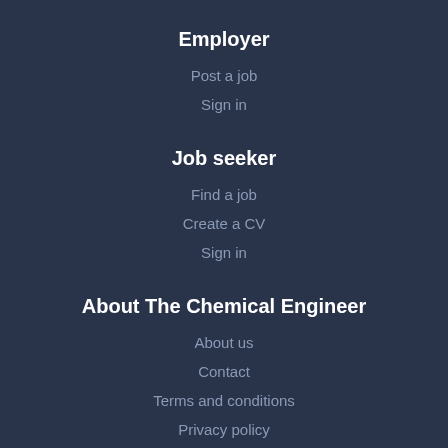Employer
Post a job
Sign in
Job seeker
Find a job
Create a CV
Sign in
About The Chemical Engineer
About us
Contact
Terms and conditions
Privacy policy